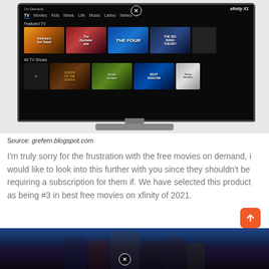[Figure (screenshot): Xfinity X1 On Demand TV interface screenshot on a TV set showing Featured TV section with thumbnails for America's Got Talent, The Bachelorette, The Four, The Big Bang Theory, and All TV Shows section with Queen of the South, House of Hunters, Beat Shazam, and Young Sheldon.]
Source: grefem.blogspot.com
I'm truly sorry for the frustration with the free movies on demand, i would like to look into this further with you since they shouldn't be requiring a subscription for them if. We have selected this product as being #3 in best free movies on xfinity of 2021.
[Figure (photo): Black Panther movie promotional image showing several characters from the film against a blue-grey background, with a close button overlay.]